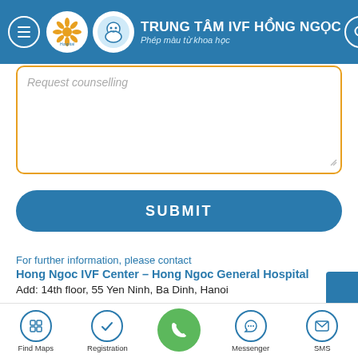TRUNG TÂM IVF HỒNG NGỌC – Phép màu từ khoa học
Request counselling
SUBMIT
For further information, please contact
Hong Ngoc IVF Center – Hong Ngoc General Hospital
Add: 14th floor, 55 Yen Ninh, Ba Dinh, Hanoi
Find Maps | Registration | Call | Messenger | SMS